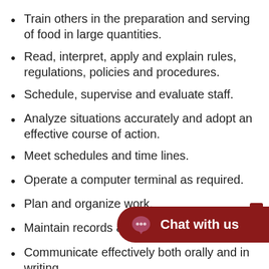Train others in the preparation and serving of food in large quantities.
Read, interpret, apply and explain rules, regulations, policies and procedures.
Schedule, supervise and evaluate staff.
Analyze situations accurately and adopt an effective course of action.
Meet schedules and time lines.
Operate a computer terminal as required.
Plan and organize work.
Maintain records and prepare reports.
Communicate effectively both orally and in writing.
Work independently with little direction.
OTHER JOB RESPONSIBIL